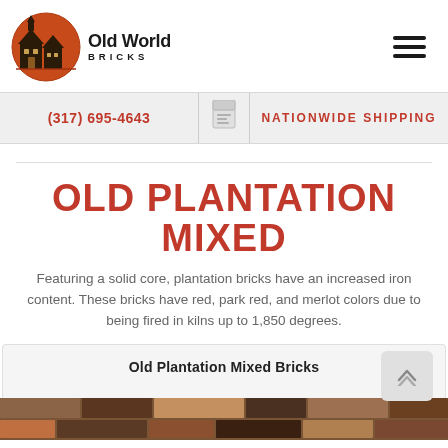[Figure (logo): Old World Bricks logo — circular emblem with orange/red background showing a house silhouette, with text 'Old World BRICKS' below]
(317) 695-4643
NATIONWIDE SHIPPING
OLD PLANTATION MIXED
Featuring a solid core, plantation bricks have an increased iron content. These bricks have red, park red, and merlot colors due to being fired in kilns up to 1,850 degrees.
Old Plantation Mixed Bricks
[Figure (photo): Photo of mixed plantation bricks showing various red, brown and merlot colored bricks]